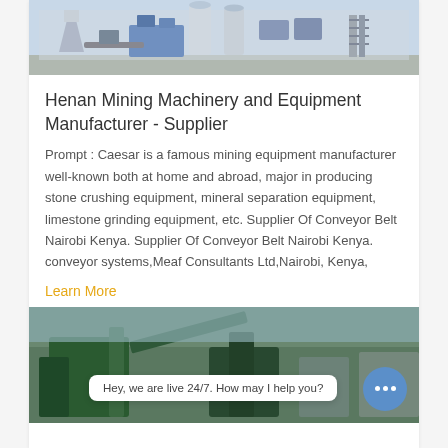[Figure (photo): Industrial mining/concrete batching plant machinery with blue and white equipment, hopper, silos, and access stairs in outdoor setting.]
Henan Mining Machinery and Equipment Manufacturer - Supplier
Prompt : Caesar is a famous mining equipment manufacturer well-known both at home and abroad, major in producing stone crushing equipment, mineral separation equipment, limestone grinding equipment, etc. Supplier Of Conveyor Belt Nairobi Kenya. Supplier Of Conveyor Belt Nairobi Kenya. conveyor systems,Meaf Consultants Ltd,Nairobi, Kenya,
Learn More
[Figure (photo): Industrial green machinery/conveyor equipment in outdoor industrial setting. Chat bubble overlay: 'Hey, we are live 24/7. How may I help you?' with a blue chat icon button.]